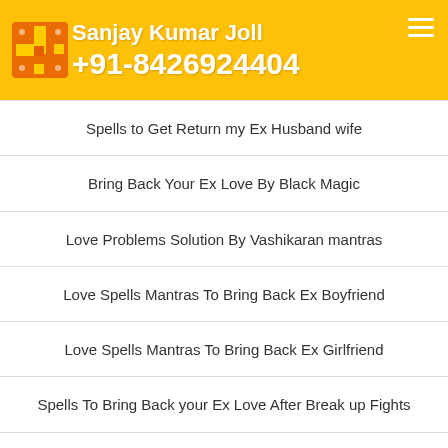Sanjay Kumar Joll +91-8426924404
Spells to Get Return my Ex Husband wife
Bring Back Your Ex Love By Black Magic
Love Problems Solution By Vashikaran mantras
Love Spells Mantras To Bring Back Ex Boyfriend
Love Spells Mantras To Bring Back Ex Girlfriend
Spells To Bring Back your Ex Love After Break up Fights
Spells Mantras to Bring Back My Husband Wife By